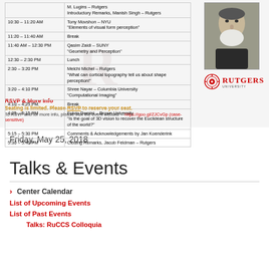| Time | Event |
| --- | --- |
|  | M. Lugins – Rutgers
Introductory Remarks, Manish Singh – Rutgers |
| 10:30 – 11:20 AM | Tony Movshon – NYU
"Elements of visual form perception" |
| 11:20 – 11:40 AM | Break |
| 11:40 AM – 12:30 PM | Qasim Zaidi – SUNY
"Geometry and Perception" |
| 12:30 – 2:30 PM | Lunch |
| 2:30 – 3:20 PM | Melchi Michel – Rutgers
"What can cortical topography tell us about shape perception!" |
| 3:20 – 4:10 PM | Shree Nayar – Columbia University
"Computational Imaging" |
| 4:10 – 4:25 PM | Break |
| 4:25 – 5:15 PM | Fulvio Domini – Brown University
"Is the goal of 3D vision to recover the Euclidean structure of the world?" |
| 5:15 – 5:30 PM | Comments & Acknowledgements by Jan Koenderink |
| 5:30 – 5:40 PM | Closing Remarks, Jacob Feldman – Rutgers |
[Figure (photo): Black and white photo of an elderly man with a white beard]
[Figure (logo): Rutgers University logo with circular emblem and red text]
RSVP & More Info
Seating is limited. Please RSVP to reserve your seat.
To RSVP and for more info, please visit the event website – https://goo.gl/ZJCvGp (case-sensitive)
Friday, May 25, 2018
Talks & Events
Center Calendar
List of Upcoming Events
List of Past Events
Talks: RuCCS Colloquia